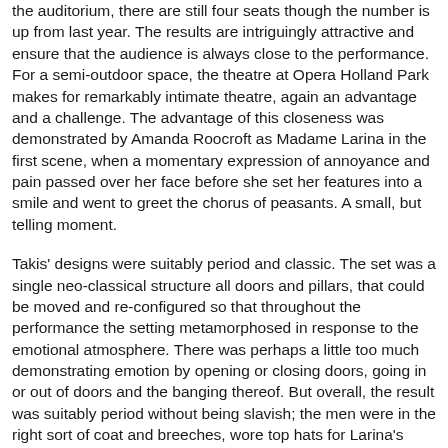the auditorium, there are still four seats though the number is up from last year. The results are intriguingly attractive and ensure that the audience is always close to the performance. For a semi-outdoor space, the theatre at Opera Holland Park makes for remarkably intimate theatre, again an advantage and a challenge. The advantage of this closeness was demonstrated by Amanda Roocroft as Madame Larina in the first scene, when a momentary expression of annoyance and pain passed over her face before she set her features into a smile and went to greet the chorus of peasants. A small, but telling moment.
Takis' designs were suitably period and classic. The set was a single neo-classical structure all doors and pillars, that could be moved and re-configured so that throughout the performance the setting metamorphosed in response to the emotional atmosphere. There was perhaps a little too much demonstrating emotion by opening or closing doors, going in or out of doors and the banging thereof. But overall, the result was suitably period without being slavish; the men were in the right sort of coat and breeches, wore top hats for Larina's party but there was no glove for Lensky to throw down at the duel.